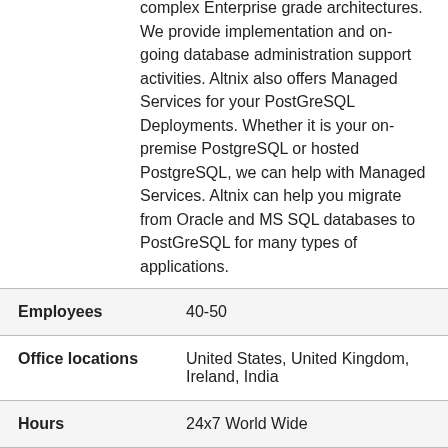complex Enterprise grade architectures. We provide implementation and on-going database administration support activities. Altnix also offers Managed Services for your PostGreSQL Deployments. Whether it is your on-premise PostgreSQL or hosted PostgreSQL, we can help with Managed Services. Altnix can help you migrate from Oracle and MS SQL databases to PostGreSQL for many types of applications.
| Employees | 40-50 |
| Office locations | United States, United Kingdom, Ireland, India |
| Hours | 24x7 World Wide |
| Languages | English |